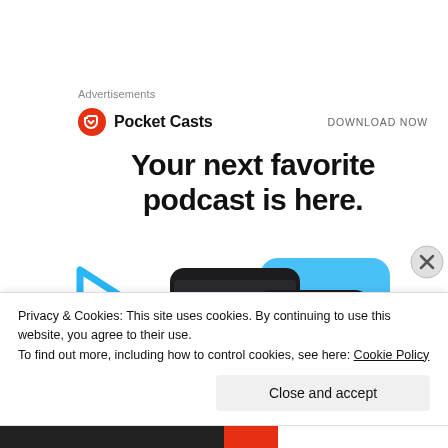Advertisements
[Figure (logo): Pocket Casts logo with red circular icon and bold text 'Pocket Casts', alongside 'DOWNLOAD NOW' text on the right]
Your next favorite podcast is here.
[Figure (screenshot): Pocket Casts app screenshots showing 'Up Next' queue on two mobile phone screens with blue play button icon and blue rounded rectangle in background]
Privacy & Cookies: This site uses cookies. By continuing to use this website, you agree to their use.
To find out more, including how to control cookies, see here: Cookie Policy
Close and accept